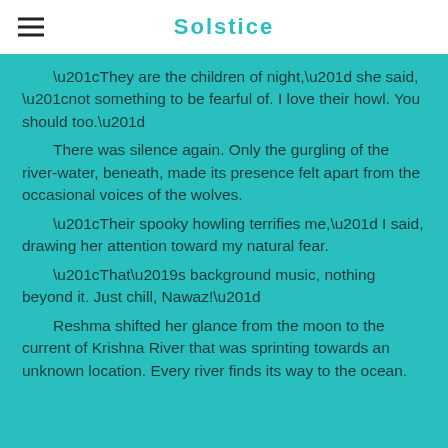Solstice
“They are the children of night,” she said, “not something to be fearful of. I love their howl. You should too.”
There was silence again. Only the gurgling of the river-water, beneath, made its presence felt apart from the occasional voices of the wolves.
“Their spooky howling terrifies me,” I said, drawing her attention toward my natural fear.
“That’s background music, nothing beyond it. Just chill, Nawaz!”
Reshma shifted her glance from the moon to the current of Krishna River that was sprinting towards an unknown location. Every river finds its way to the ocean.